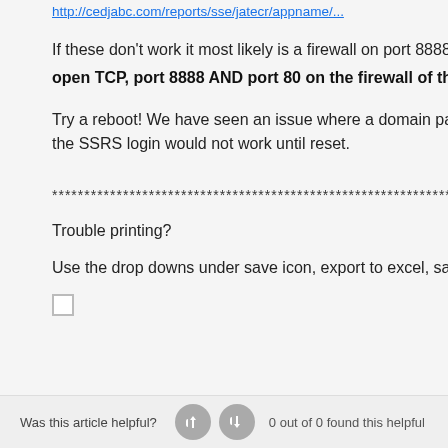http://cedjabc.com/reports/sse/jatecr/appname/...
If these don't work it most likely is a firewall on port 8888. Conta...
open TCP, port 8888 AND port 80 on the firewall of the CEO ...
Try a reboot! We have seen an issue where a domain password...
the SSRS login would not work until reset.
************************************************************************************
Trouble printing?
Use the drop downs under save icon, export to excel, save file a...
Was this article helpful?
0 out of 0 found this helpful